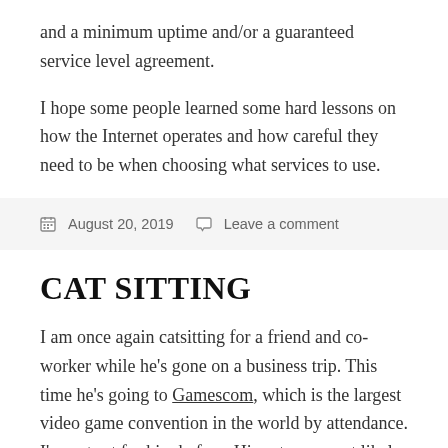and a minimum uptime and/or a guaranteed service level agreement.
I hope some people learned some hard lessons on how the Internet operates and how careful they need to be when choosing what services to use.
August 20, 2019   Leave a comment
CAT SITTING
I am once again catsitting for a friend and co-worker while he's gone on a business trip. This time he's going to Gamescom, which is the largest video game convention in the world by attendance. I've cat sat for him before. His cat was most likely a street cat